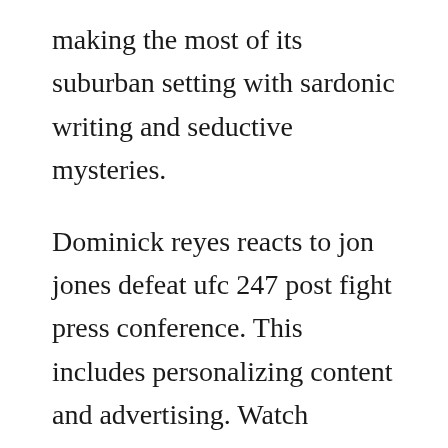making the most of its suburban setting with sardonic writing and seductive mysteries.
Dominick reyes reacts to jon jones defeat ufc 247 post fight press conference. This includes personalizing content and advertising. Watch general hospital online full episodes of season 58. Set in a single hotel room, new guests and surprising stories unfold in unexpected ways. From women on a mission high school, seven sisters on a mission test the. Angela kang continued as showrunner for the second consecutive season. In this round, the top